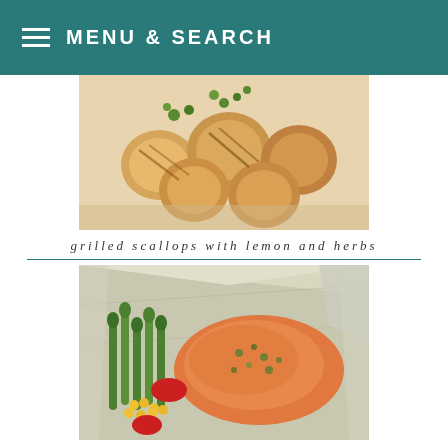MENU & SEARCH
[Figure (photo): Grilled scallops dish photographed from above, showing golden-brown scallops with herbs on a plate]
grilled scallops with lemon and herbs
[Figure (photo): Salmon foil packet with asparagus, corn, and red peppers, garnished with herbs]
salmon foil packets
[Figure (photo): Partial view of a third recipe dish, cropped at bottom of page]